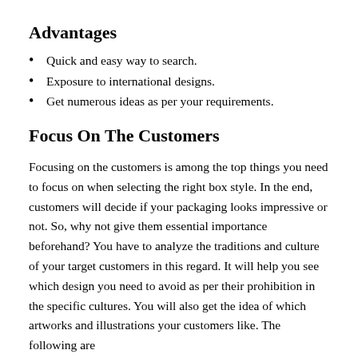Advantages
Quick and easy way to search.
Exposure to international designs.
Get numerous ideas as per your requirements.
Focus On The Customers
Focusing on the customers is among the top things you need to focus on when selecting the right box style. In the end, customers will decide if your packaging looks impressive or not. So, why not give them essential importance beforehand? You have to analyze the traditions and culture of your target customers in this regard. It will help you see which design you need to avoid as per their prohibition in the specific cultures. You will also get the idea of which artworks and illustrations your customers like. The following are